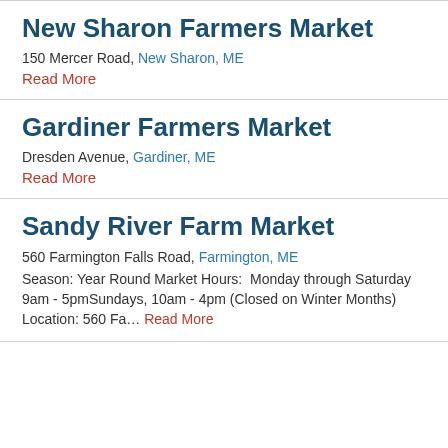New Sharon Farmers Market
150 Mercer Road, New Sharon, ME
Read More
Gardiner Farmers Market
Dresden Avenue, Gardiner, ME
Read More
Sandy River Farm Market
560 Farmington Falls Road, Farmington, ME
Season: Year Round Market Hours:  Monday through Saturday 9am - 5pmSundays, 10am - 4pm (Closed on Winter Months) Location: 560 Fa… Read More